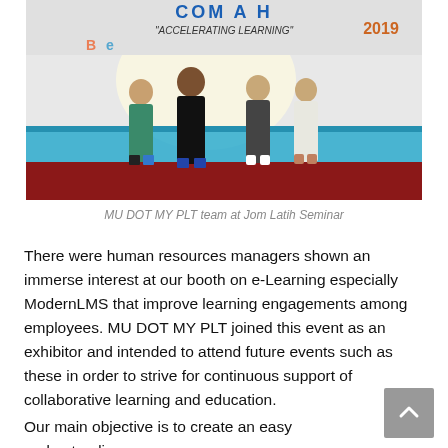[Figure (photo): Four people (MU DOT MY PLT team) standing in front of a stage banner reading 'Accelerating Learning 2019' at the Jom Latih Seminar. The background shows a teal stage cloth and red carpet.]
MU DOT MY PLT team at Jom Latih Seminar
There were human resources managers shown an immerse interest at our booth on e-Learning especially ModernLMS that improve learning engagements among employees. MU DOT MY PLT joined this event as an exhibitor and intended to attend future events such as these in order to strive for continuous support of collaborative learning and education.
Our main objective is to create an easy understanding of a learning management platform to allow easy and...